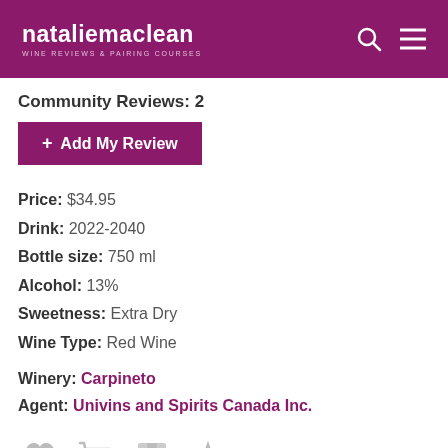nataliemaclean WINE REVIEWS & PAIRING COURSES
Community Reviews: 2
+ Add My Review
Price: $34.95
Drink: 2022-2040
Bottle size: 750 ml
Alcohol: 13%
Sweetness: Extra Dry
Wine Type: Red Wine
Winery: Carpineto
Agent: Univins and Spirits Canada Inc.
[Figure (infographic): Four action icons (heart/wishlist, shopping cart, shipping box, star/favorites) each with a plus symbol, rendered in light gray]